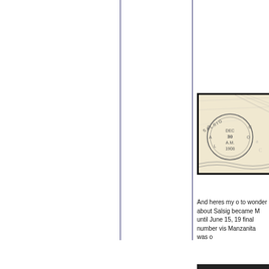[Figure (photo): A scanned postmark/cancellation stamp image showing 'SALSIG' circular cancel with 'DEC 30 A.M. 1908' date, on aged paper with pencil markings.]
And heres my o to wonder about Salsig became M until June 15, 19 final number vis Manzanita was o